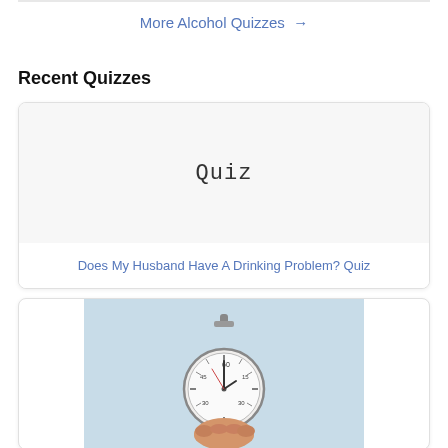More Alcohol Quizzes →
Recent Quizzes
[Figure (illustration): Card with 'Quiz' text in handwritten/typewriter style font on a white/light gray background]
Does My Husband Have A Drinking Problem? Quiz
[Figure (photo): A hand holding a stopwatch against a light blue background, partially cropped at bottom]